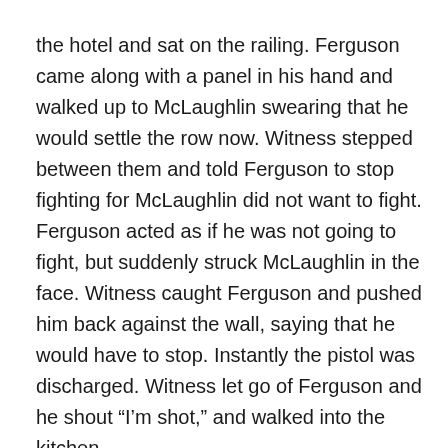the hotel and sat on the railing. Ferguson came along with a panel in his hand and walked up to McLaughlin swearing that he would settle the row now. Witness stepped between them and told Ferguson to stop fighting for McLaughlin did not want to fight. Ferguson acted as if he was not going to fight, but suddenly struck McLaughlin in the face. Witness caught Ferguson and pushed him back against the wall, saying that he would have to stop. Instantly the pistol was discharged. Witness let go of Ferguson and he shout “I’m shot,” and walked into the kitchen.
Witness saw McLaughlin afterward. He said he was sorry for shooting Ferguson, but he could not help it as he was afraid of him.  Dr. Norman McCormack, Renfrew, performed the post-mortem examination on the body of Robert Ferguson. The cause of death indicated that the